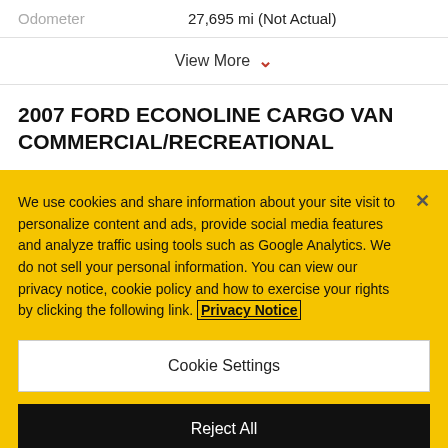Odometer    27,695 mi (Not Actual)
View More
2007 FORD ECONOLINE CARGO VAN COMMERCIAL/RECREATIONAL
We use cookies and share information about your site visit to personalize content and ads, provide social media features and analyze traffic using tools such as Google Analytics. We do not sell your personal information. You can view our privacy notice, cookie policy and how to exercise your rights by clicking the following link. Privacy Notice
Cookie Settings
Reject All
Accept Cookies